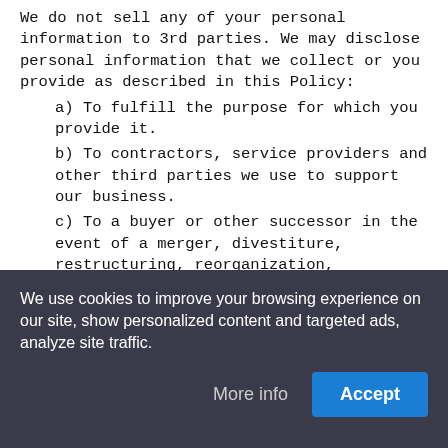We do not sell any of your personal information to 3rd parties. We may disclose personal information that we collect or you provide as described in this Policy:
a) To fulfill the purpose for which you provide it.
b) To contractors, service providers and other third parties we use to support our business.
c) To a buyer or other successor in the event of a merger, divestiture, restructuring, reorganization, dissolution or other sale or transfer of some or all of the Site's assets, whether as a going concern or as part of bankruptcy, liquidation or similar proceeding, in which personal information about our Site users is among the assets transferred.
d) We may, without restriction, disclose aggregated information about our users and information that
We use cookies to improve your browsing experience on our site, show personalized content and targeted ads, analyze site traffic.
More info
Accept